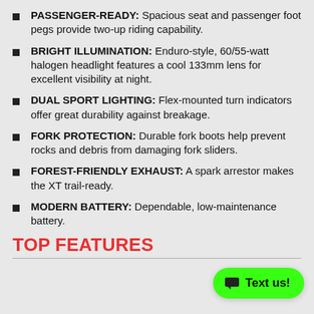PASSENGER-READY: Spacious seat and passenger foot pegs provide two-up riding capability.
BRIGHT ILLUMINATION: Enduro-style, 60/55-watt halogen headlight features a cool 133mm lens for excellent visibility at night.
DUAL SPORT LIGHTING: Flex-mounted turn indicators offer great durability against breakage.
FORK PROTECTION: Durable fork boots help prevent rocks and debris from damaging fork sliders.
FOREST-FRIENDLY EXHAUST: A spark arrestor makes the XT trail-ready.
MODERN BATTERY: Dependable, low-maintenance battery.
TOP FEATURES